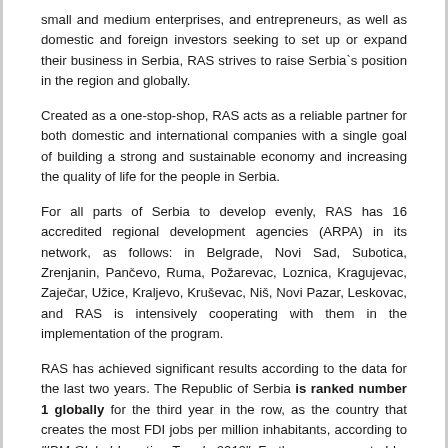small and medium enterprises, and entrepreneurs, as well as domestic and foreign investors seeking to set up or expand their business in Serbia, RAS strives to raise Serbia`s position in the region and globally.
Created as a one-stop-shop, RAS acts as a reliable partner for both domestic and international companies with a single goal of building a strong and sustainable economy and increasing the quality of life for the people in Serbia.
For all parts of Serbia to develop evenly, RAS has 16 accredited regional development agencies (ARPA) in its network, as follows: in Belgrade, Novi Sad, Subotica, Zrenjanin, Pančevo, Ruma, Požarevac, Loznica, Kragujevac, Zaječar, Užice, Kraljevo, Kruševac, Niš, Novi Pazar, Leskovac, and RAS is intensively cooperating with them in the implementation of the program.
RAS has achieved significant results according to the data for the last two years. The Republic of Serbia is ranked number 1 globally for the third year in the row, as the country that creates the most FDI jobs per million inhabitants, according to "IBM Global Location Trends 2019". Furthermore, reported by UNCTAD „World Investment